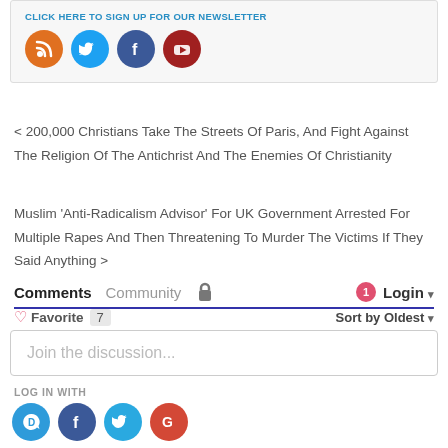[Figure (screenshot): Top box with truncated newsletter link and four social media icon circles: RSS (orange), Twitter (light blue), Facebook (dark blue), YouTube (dark red)]
< 200,000 Christians Take The Streets Of Paris, And Fight Against The Religion Of The Antichrist And The Enemies Of Christianity
Muslim 'Anti-Radicalism Advisor' For UK Government Arrested For Multiple Rapes And Then Threatening To Murder The Victims If They Said Anything >
Comments   Community   🔒   1   Login ▾
♡ Favorite  7       Sort by Oldest ▾
Join the discussion...
LOG IN WITH
[Figure (screenshot): Four login social icons: Disqus (light blue D), Facebook (dark blue f), Twitter (cyan bird), Google (red G)]